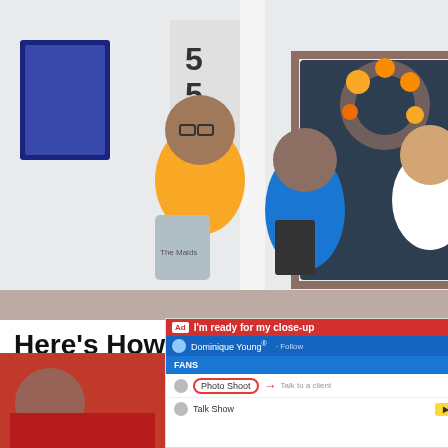[Figure (screenshot): Screenshot of a webpage showing a maid service advertisement with photo of cleaning staff in front of a house, overlaid with video ad panel showing animated woman illustration with 'Click to unmute' button and X close button, plus headline 'Here's How Much Ashburn Clean A House', sponsored label, BitLife app install ad, and other ad elements.]
Here's How Much Ashburn Clean A House
Maid Service | Search Ads | Sponsored
Click to unmute
BitLife - Life Simulator
Install!
I'm ready for my close-up
Ad